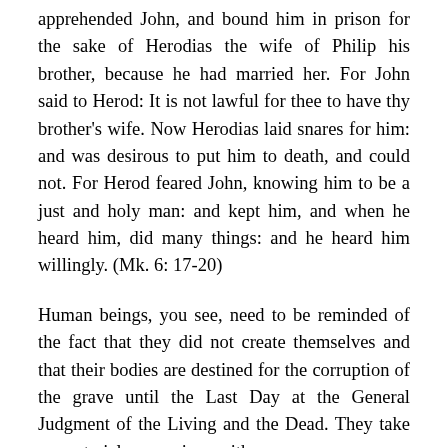apprehended John, and bound him in prison for the sake of Herodias the wife of Philip his brother, because he had married her. For John said to Herod: It is not lawful for thee to have thy brother's wife. Now Herodias laid snares for him: and was desirous to put him to death, and could not. For Herod feared John, knowing him to be a just and holy man: and kept him, and when he heard him, did many things: and he heard him willingly. (Mk. 6: 17-20)
Human beings, you see, need to be reminded of the fact that they did not create themselves and that their bodies are destined for the corruption of the grave until the Last Day at the General Judgment of the Living and the Dead. They take no material possessions with